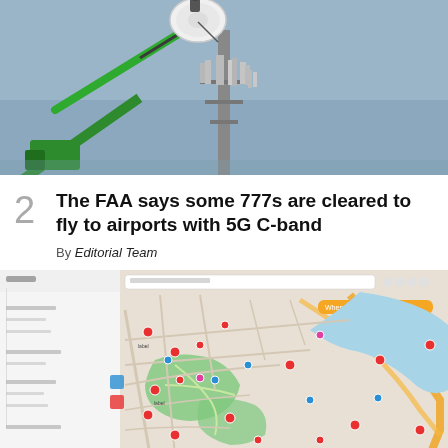[Figure (photo): A green cherry-picker crane with a worker installing a large white cylindrical antenna on a tall cell tower with multiple antennas against a grey-blue sky]
The FAA says some 777s are cleared to fly to airports with 5G C-band
By Editorial Team
[Figure (map): A screenshot of a mapping application showing an urban area with roads, green park areas, a blue river/water body, and various map pins and orange route highlights]